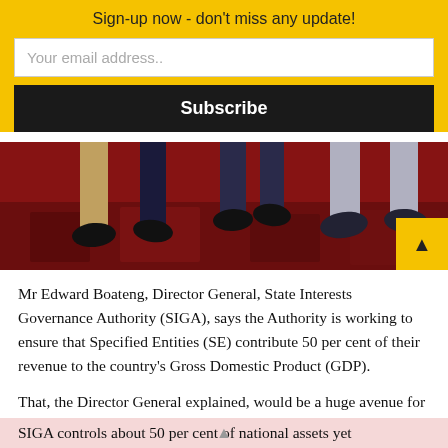Sign-up now - don't miss any update!
Your email address..
Subscribe
[Figure (photo): Close-up photograph of people's feet and legs walking on a dark red patterned carpet or floor covering]
Mr Edward Boateng, Director General, State Interests Governance Authority (SIGA), says the Authority is working to ensure that Specified Entities (SE) contribute 50 per cent of their revenue to the country's Gross Domestic Product (GDP).
That, the Director General explained, would be a huge avenue for Small and Medium Enterprises to develop and create more employment for national growth.
SIGA controls about 50 per cent of national assets yet...